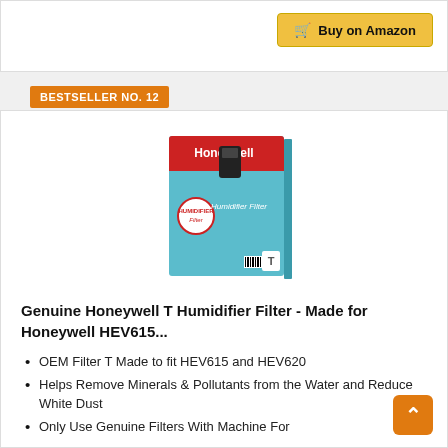[Figure (screenshot): Buy on Amazon button with shopping cart icon, gold/yellow background]
BESTSELLER NO. 12
[Figure (photo): Honeywell T Humidifier Filter product box — teal and red packaging with Honeywell branding and humidifier filter image]
Genuine Honeywell T Humidifier Filter - Made for Honeywell HEV615...
OEM Filter T Made to fit HEV615 and HEV620
Helps Remove Minerals & Pollutants from the Water and Reduce White Dust
Only Use Genuine Filters With Machine For